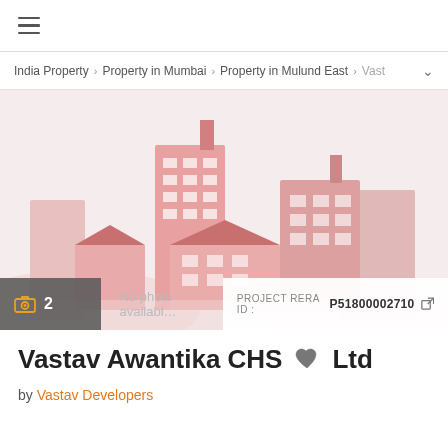☰
India Property > Property in Mumbai > Property in Mulund East > Vast…
[Figure (illustration): Real estate / city buildings illustration placeholder image with pink/salmon colored buildings on light pink background. Shows 'No photo available' text overlay.]
📷 2   No photo availabl…   PROJECT RERA ID : P51800002710 🔗
Vastav Awantika CHS Ltd
by Vastav Developers